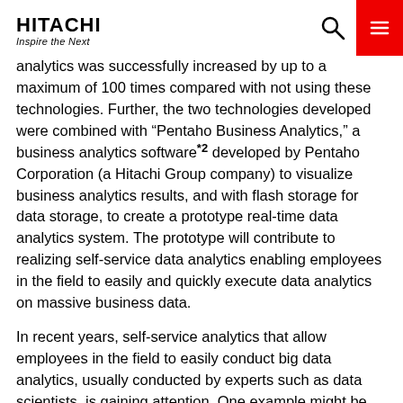HITACHI Inspire the Next
analytics was successfully increased by up to a maximum of 100 times compared with not using these technologies. Further, the two technologies developed were combined with “Pentaho Business Analytics,” a business analytics software*2 developed by Pentaho Corporation (a Hitachi Group company) to visualize business analytics results, and with flash storage for data storage, to create a prototype real-time data analytics system. The prototype will contribute to realizing self-service data analytics enabling employees in the field to easily and quickly execute data analytics on massive business data.
In recent years, self-service analytics that allow employees in the field to easily conduct big data analytics, usually conducted by experts such as data scientists, is gaining attention. One example might be that of a financial advisor, listening to a customer requirements, entering the information into the analytics system on the spot, and being able to suggest a financial product which matches the customer’s needs. As can be imagined from this example, the data analytics system for self-service data analytics